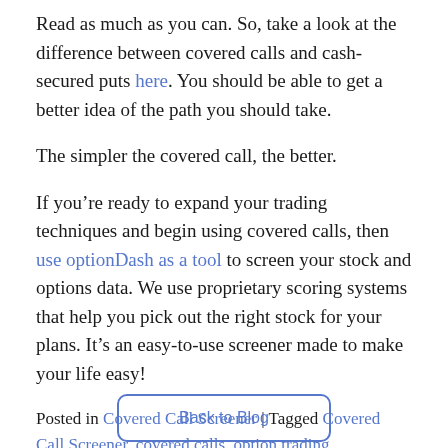Read as much as you can. So, take a look at the difference between covered calls and cash-secured puts here. You should be able to get a better idea of the path you should take.
The simpler the covered call, the better.
If you're ready to expand your trading techniques and begin using covered calls, then use optionDash as a tool to screen your stock and options data. We use proprietary scoring systems that help you pick out the right stock for your plans. It's an easy-to-use screener made to make your life easy!
Posted in Covered Call Screener | Tagged Covered Call Screener, covered calls, option trading